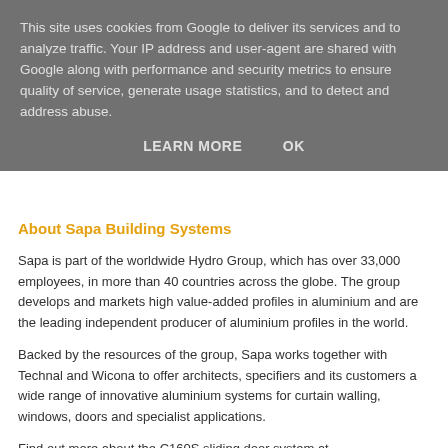This site uses cookies from Google to deliver its services and to analyze traffic. Your IP address and user-agent are shared with Google along with performance and security metrics to ensure quality of service, generate usage statistics, and to detect and address abuse.
LEARN MORE   OK
About Sapa Building Systems
Sapa is part of the worldwide Hydro Group, which has over 33,000 employees, in more than 40 countries across the globe. The group develops and markets high value-added profiles in aluminium and are the leading independent producer of aluminium profiles in the world.
Backed by the resources of the group, Sapa works together with Technal and Wicona to offer architects, specifiers and its customers a wide range of innovative aluminium systems for curtain walling, windows, doors and specialist applications.
Find out more about the C160S sliding door system at